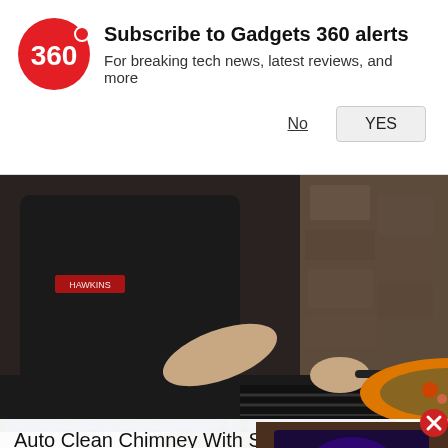Subscribe to Gadgets 360 alerts
For breaking tech news, latest reviews, and more
No
YES
[Figure (photo): Person in black apron cooking with orange pan on gas stove]
Auto Clean Chimney With Six-way S
[Figure (screenshot): Mini video player showing a TV with galaxy/space wallpaper, with a red play button overlay and a close (X) button]
[Figure (photo): Partial image of military helmet/gear with map background at bottom of page]